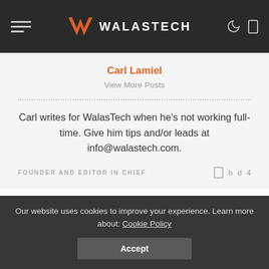WALASTECH
Carl Lamiel
View More Posts
Carl writes for WalasTech when he's not working full-time. Give him tips and/or leads at info@walastech.com.
FOUNDER AND EDITOR IN CHIEF
PREVIOUS ARTICLE
NEXT ARTICLE
Our website uses cookies to improve your experience. Learn more about: Cookie Policy
Accept